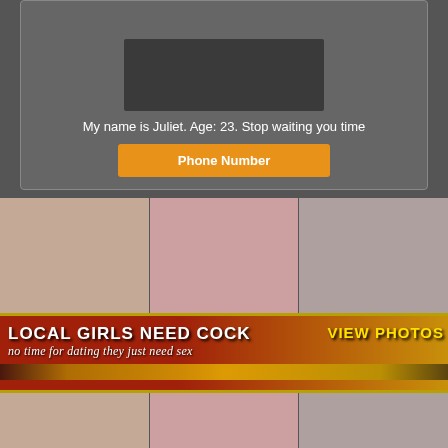[Figure (photo): Adult dating advertisement card with photo, text and button]
My name is Juliet. Age: 23. Stop waiting you time
Phone Number
[Figure (photo): Strip of three adult content thumbnail photos]
[Figure (infographic): Adult dating banner: LOCAL GIRLS NEED COCK / no time for dating they just need sex / VIEW PHOTOS]
[Figure (photo): Second strip of three adult content thumbnail photos]